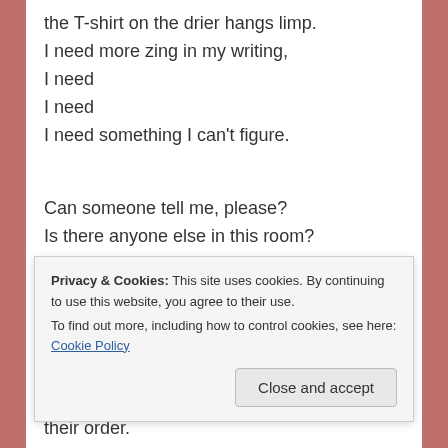the T-shirt on the drier hangs limp.
I need more zing in my writing,
I need
I need
I need something I can't figure.

Can someone tell me, please?
Is there anyone else in this room?

Are words always this slippery?
Are stories suspended from the sky,
their tails hanging above me,
beyond the reach of my fingers,
Privacy & Cookies: This site uses cookies. By continuing to use this website, you agree to their use.
To find out more, including how to control cookies, see here: Cookie Policy
their order.